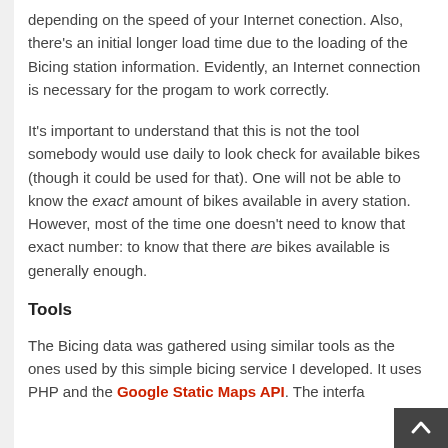depending on the speed of your Internet conection. Also, there's an initial longer load time due to the loading of the Bicing station information. Evidently, an Internet connection is necessary for the progam to work correctly.
It's important to understand that this is not the tool somebody would use daily to look check for available bikes (though it could be used for that). One will not be able to know the exact amount of bikes available in avery station. However, most of the time one doesn't need to know that exact number: to know that there are bikes available is generally enough.
Tools
The Bicing data was gathered using similar tools as the ones used by this simple bicing service I developed. It uses PHP and the Google Static Maps API. The interfa...